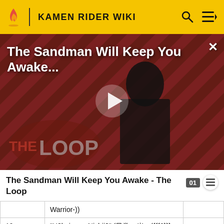KAMEN RIDER WIKI
[Figure (screenshot): Video advertisement thumbnail for 'The Sandman Will Keep You Awake...' showing a figure in black cape over a diagonal striped dark red/brown background, with a play button overlay and 'THE LOOP' watermark at the bottom left. A close (X) button is at top right.]
The Sandman Will Keep You Awake - The Loop
|  | Warrior-)) |
| 19. | "Hōkai suru Nichijō" (日常　崩　({{{2}}},　日常が崩壊する) (Daily Collapses)) |